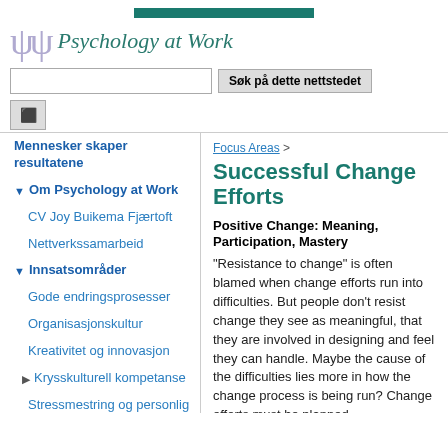[Figure (logo): Psychology at Work logo with psi symbols and italic text]
Søk på dette nettstedet
Mennesker skaper resultatene
Om Psychology at Work
CV Joy Buikema Fjærtoft
Nettverkssamarbeid
Innsatsområder
Gode endringsprosesser
Organisasjonskultur
Kreativitet og innovasjon
Krysskulturell kompetanse
Stressmestring og personlig effektivitet
Foredrag og seminarer
Testverktøy
Kunder
Kontakt
Focus Areas >
Successful Change Efforts
Positive Change: Meaning, Participation, Mastery
"Resistance to change" is often blamed when change efforts run into difficulties. But people don't resist change they see as meaningful, that they are involved in designing and feel they can handle. Maybe the cause of the difficulties lies more in how the change process is being run? Change efforts must be planned